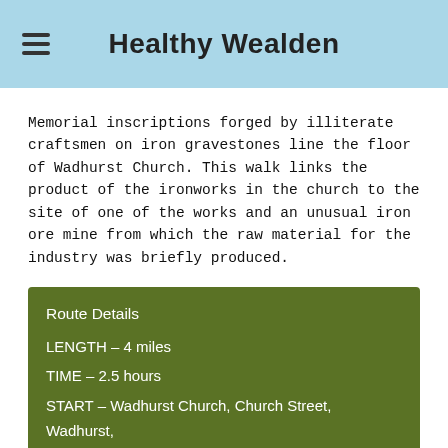Healthy Wealden
Memorial inscriptions forged by illiterate craftsmen on iron gravestones line the floor of Wadhurst Church. This walk links the product of the ironworks in the church to the site of one of the works and an unusual iron ore mine from which the raw material for the industry was briefly produced.
Route Details
LENGTH – 4 miles
TIME – 2.5 hours
START – Wadhurst Church, Church Street, Wadhurst, TN5 6AR, NGR 641318.
PARKING – Car parks in Wadhurst village.
TOILETS – Wadhurst village hall.